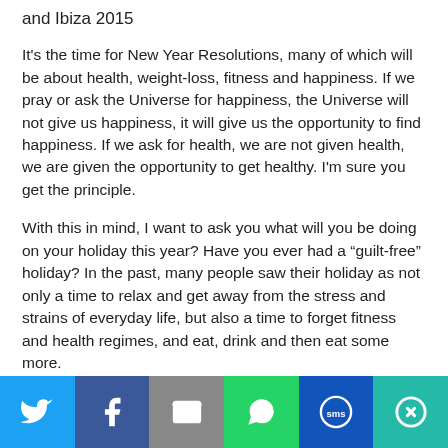and Ibiza 2015
It’s the time for New Year Resolutions, many of which will be about health, weight-loss, fitness and happiness. If we pray or ask the Universe for happiness, the Universe will not give us happiness, it will give us the opportunity to find happiness. If we ask for health, we are not given health, we are given the opportunity to get healthy. I’m sure you get the principle.
With this in mind, I want to ask you what will you be doing on your holiday this year? Have you ever had a “guilt-free” holiday? In the past, many people saw their holiday as not only a time to relax and get away from the stress and strains of everyday life, but also a time to forget fitness and health regimes, and eat, drink and then eat some more.
[Figure (infographic): Social sharing bar with six buttons: Twitter (blue), Facebook (dark blue), Email (grey), WhatsApp (green), SMS (blue), and More (teal). Each button shows a white icon.]